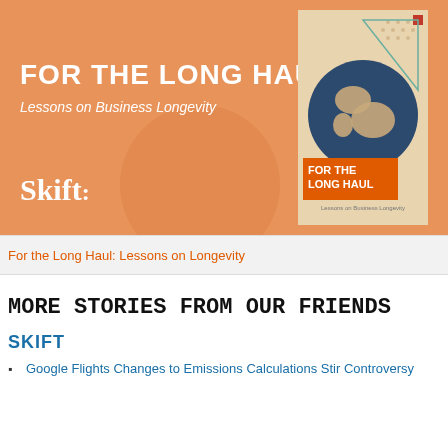[Figure (illustration): Orange banner advertisement for 'For the Long Haul: Lessons on Business Longevity' by Skift, featuring a book cover with a globe illustration and geometric triangle design.]
For the Long Haul: Lessons on Longevity
MORE STORIES FROM OUR FRIENDS
SKIFT
Google Flights Changes to Emissions Calculations Stir Controversy